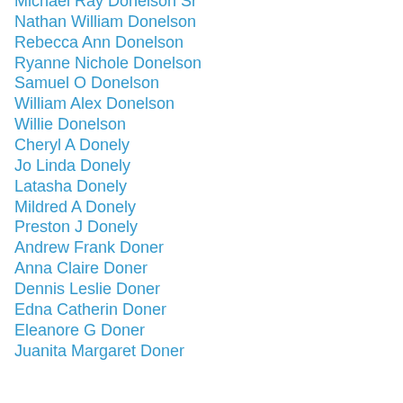Michael Ray Donelson Sr
Nathan William Donelson
Rebecca Ann Donelson
Ryanne Nichole Donelson
Samuel O Donelson
William Alex Donelson
Willie Donelson
Cheryl A Donely
Jo Linda Donely
Latasha Donely
Mildred A Donely
Preston J Donely
Andrew Frank Doner
Anna Claire Doner
Dennis Leslie Doner
Edna Catherin Doner
Eleanore G Doner
Juanita Margaret Doner